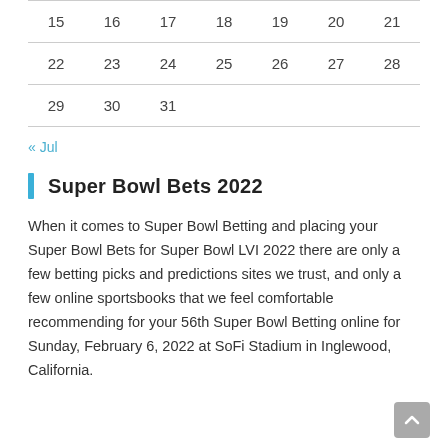| 15 | 16 | 17 | 18 | 19 | 20 | 21 |
| 22 | 23 | 24 | 25 | 26 | 27 | 28 |
| 29 | 30 | 31 |  |  |  |  |
« Jul
Super Bowl Bets 2022
When it comes to Super Bowl Betting and placing your Super Bowl Bets for Super Bowl LVI 2022 there are only a few betting picks and predictions sites we trust, and only a few online sportsbooks that we feel comfortable recommending for your 56th Super Bowl Betting online for Sunday, February 6, 2022 at SoFi Stadium in Inglewood, California.